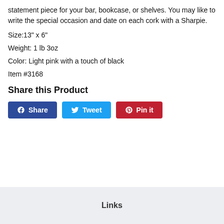statement piece for your bar, bookcase, or shelves. You may like to write the special occasion and date on each cork with a Sharpie.
Size:13" x 6"
Weight: 1 lb 3oz
Color: Light pink with a touch of black
Item #3168
Share this Product
Share | Tweet | Pin it
Links